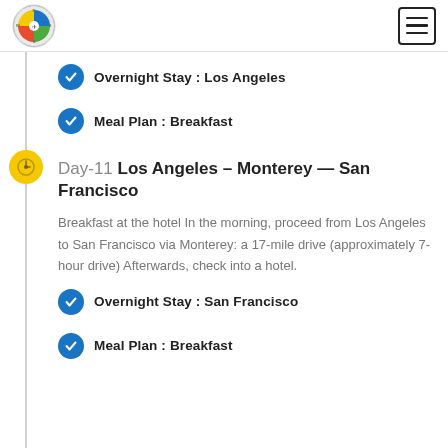Travel Itinerary - Company Logo and Navigation
Overnight Stay : Los Angeles
Meal Plan : Breakfast
Day-11 Los Angeles – Monterey — San Francisco
Breakfast at the hotel In the morning, proceed from Los Angeles to San Francisco via Monterey: a 17-mile drive (approximately 7-hour drive) Afterwards, check into a hotel.
Overnight Stay : San Francisco
Meal Plan : Breakfast